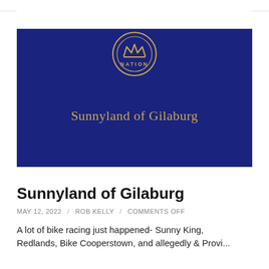[Figure (illustration): Dark navy blue banner image with a circular gold 'Nation' badge/logo at the top center, and the text 'Sunnyland of Gilaburg' in gold serif font centered in the lower half of the banner.]
Sunnyland of Gilaburg
MAY 12, 2022  /  ROB KELLY  /  COMMENTS OFF
A lot of bike racing just happened- Sunny King, Redlands, Bike Cooperstown, and allegedly & Provi...